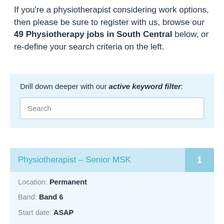If you're a physiotherapist considering work options, then please be sure to register with us, browse our 49 Physiotherapy jobs in South Central below, or re-define your search criteria on the left.
Drill down deeper with our active keyword filter:
Search
Physiotherapist – Senior MSK
Location: Permanent
Band: Band 6
Start date: ASAP
Salary: £31000 - £39000 per annum